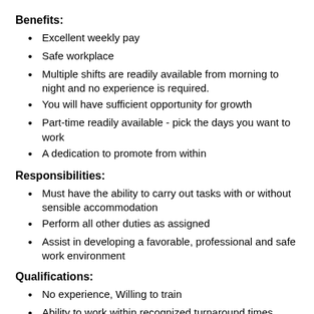Benefits:
Excellent weekly pay
Safe workplace
Multiple shifts are readily available from morning to night and no experience is required.
You will have sufficient opportunity for growth
Part-time readily available - pick the days you want to work
A dedication to promote from within
Responsibilities:
Must have the ability to carry out tasks with or without sensible accommodation
Perform all other duties as assigned
Assist in developing a favorable, professional and safe work environment
Qualifications:
No experience, Willing to train
Ability to work within recognized turnaround times